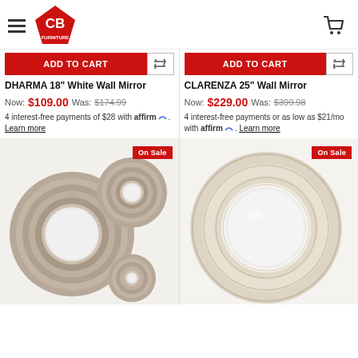CB Furniture - navigation header with logo and cart
ADD TO CART (left product)
ADD TO CART (right product)
DHARMA 18" White Wall Mirror
Now: $109.00  Was: $174.99
4 interest-free payments of $28 with affirm. Learn more
CLARENZA 25" Wall Mirror
Now: $229.00  Was: $399.98
4 interest-free payments or as low as $21/mo with affirm. Learn more
[Figure (photo): Three circular wall mirrors with concentric ring brown/tan frames on white background, On Sale badge]
[Figure (photo): Large round wall mirror with woven/herringbone pattern frame in whitewash finish, On Sale badge]